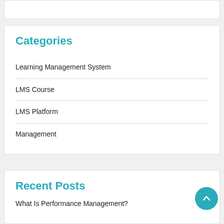Categories
Learning Management System
LMS Course
LMS Platform
Management
Recent Posts
What Is Performance Management?